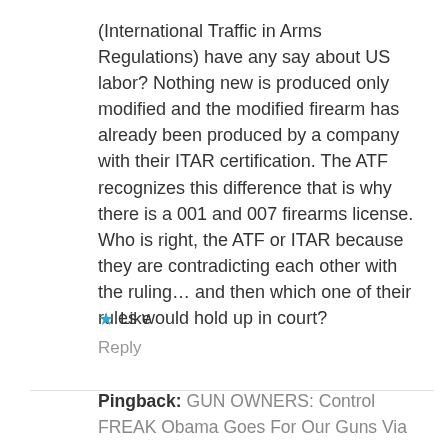(International Traffic in Arms Regulations) have any say about US labor? Nothing new is produced only modified and the modified firearm has already been produced by a company with their ITAR certification. The ATF recognizes this difference that is why there is a 001 and 007 firearms license. Who is right, the ATF or ITAR because they are contradicting each other with the ruling… and then which one of their rules would hold up in court?
★ Like
Reply
Pingback: GUN OWNERS: Control FREAK Obama Goes For Our Guns Via